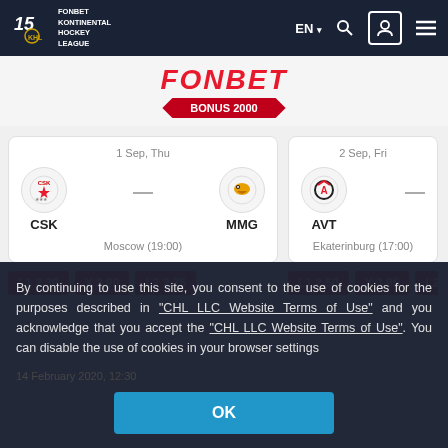FONBET KONTINENTAL HOCKEY LEAGUE – EN – Navigation bar
[Figure (screenshot): FONBET advertisement banner with red italic FONBET text and red BONUS 2000 label]
[Figure (infographic): Match card: CSK vs MMG, 1 Sep Thu, Moscow (19:00), odds L1 2.30, X 3.90, L2 2.75]
[Figure (infographic): Partial match card: AVT, 2 Sep Fri, Ekaterinburg (17:00), odds L1 2.50, X 3.95, L2 2.50+]
By continuing to use this site, you consent to the use of cookies for the purposes described in "CHL LLC Website Terms of Use" and you acknowledge that you accept the "CHL LLC Website Terms of Use". You can disable the use of cookies in your browser settings
OK